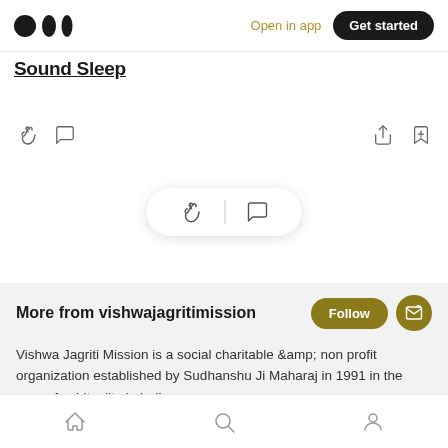Medium logo | Open in app | Get started
Sound Sleep
[Figure (screenshot): Action icons row: clapping hands icon, comment bubble icon on left; share icon and bookmark-plus icon on right]
[Figure (screenshot): Floating pill with clapping hands icon, vertical divider, and comment bubble icon]
More from vishwajagritimission
Vishwa Jagriti Mission is a social charitable &amp; non profit organization established by Sudhanshu Ji Maharaj in 1991 in the area of spirituality in India.
Bottom navigation bar with home, search, and profile icons